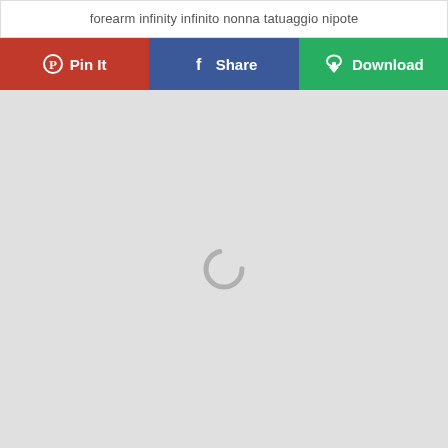forearm infinity infinito nonna tatuaggio nipote
[Figure (screenshot): Three social sharing buttons in a row: Pin It (red, Pinterest), Share (blue, Facebook), Download (green, with cloud/download icon)]
[Figure (photo): Large light grey image placeholder area with a loading spinner (circular arc) centered in it]